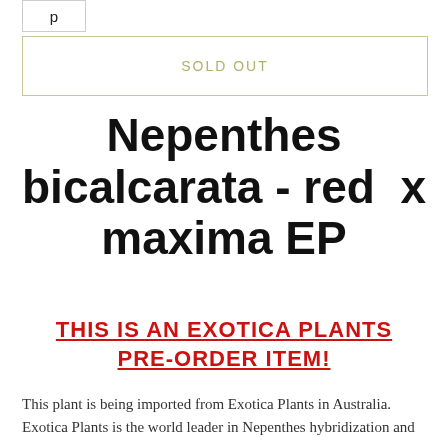p
SOLD OUT
Nepenthes bicalcarata - red  x maxima EP
THIS IS AN EXOTICA PLANTS PRE-ORDER ITEM!
This plant is being imported from Exotica Plants in Australia. Exotica Plants is the world leader in Nepenthes hybridization and